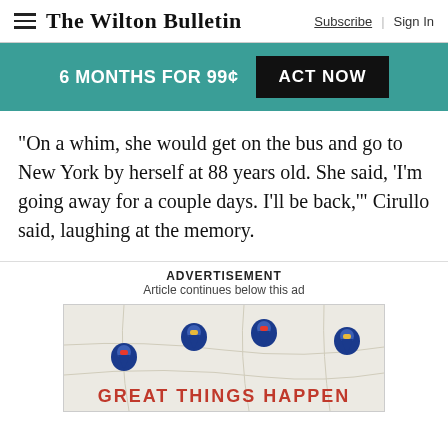The Wilton Bulletin | Subscribe | Sign In
6 MONTHS FOR 99¢   ACT NOW
“On a whim, she would get on the bus and go to New York by herself at 88 years old. She said, ‘I’m going away for a couple days. I’ll be back,’” Cirullo said, laughing at the memory.
ADVERTISEMENT
Article continues below this ad
[Figure (illustration): Advertisement image showing a map with location pin balloon icons and the text GREAT THINGS HAPPEN in red lettering at the bottom.]